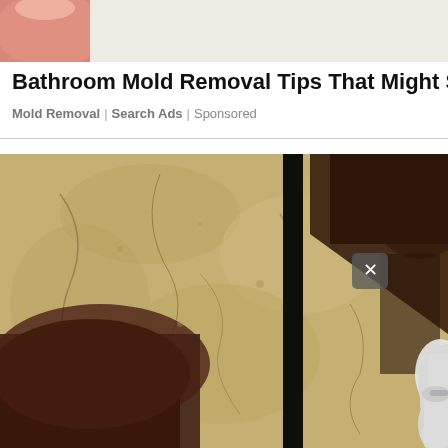[Figure (photo): Partial view of a hand/fingers (pink/skin tone) against a light background, cropped at top of page]
Bathroom Mold Removal Tips That Might Su
Mold Removal | Search Ads | Sponsored
[Figure (photo): Close-up photo of a textured stone or concrete wall in sepia/sandy tones with cracks and dark reddish-brown patches, a black vertical pole or fixture in the center, a gray close button (X) overlay on the right side, and what appears to be a white ceramic object on the far right]